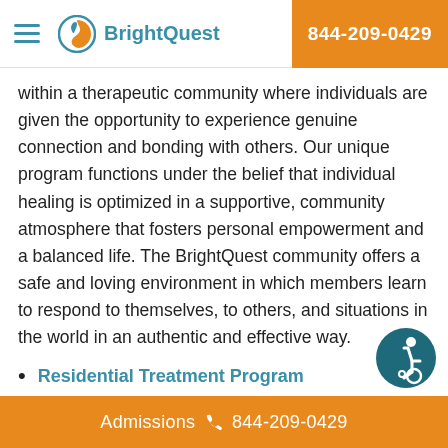BrightQuest | 844-209-0429
within a therapeutic community where individuals are given the opportunity to experience genuine connection and bonding with others. Our unique program functions under the belief that individual healing is optimized in a supportive, community atmosphere that fosters personal empowerment and a balanced life. The BrightQuest community offers a safe and loving environment in which members learn to respond to themselves, to others, and situations in the world in an authentic and effective way.
Residential Treatment Program
Semi-Independent Living Program
Admissions 844-209-0429